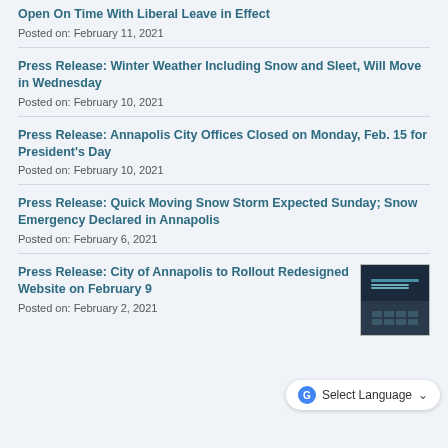Open On Time With Liberal Leave in Effect
Posted on: February 11, 2021
Press Release: Winter Weather Including Snow and Sleet, Will Move in Wednesday
Posted on: February 10, 2021
Press Release: Annapolis City Offices Closed on Monday, Feb. 15 for President's Day
Posted on: February 10, 2021
Press Release: Quick Moving Snow Storm Expected Sunday; Snow Emergency Declared in Annapolis
Posted on: February 6, 2021
Press Release: City of Annapolis to Rollout Redesigned Website on February 9
Posted on: February 2, 2021